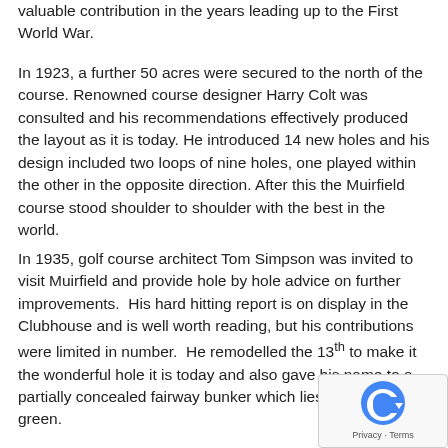valuable contribution in the years leading up to the First World War.
In 1923, a further 50 acres were secured to the north of the course. Renowned course designer Harry Colt was consulted and his recommendations effectively produced the layout as it is today. He introduced 14 new holes and his design included two loops of nine holes, one played within the other in the opposite direction. After this the Muirfield course stood shoulder to shoulder with the best in the world.
In 1935, golf course architect Tom Simpson was invited to visit Muirfield and provide hole by hole advice on further improvements. His hard hitting report is on display in the Clubhouse and is well worth reading, but his contributions were limited in number. He remodelled the 13th to make it the wonderful hole it is today and also gave his name to a partially concealed fairway bunker which lies short of the green.